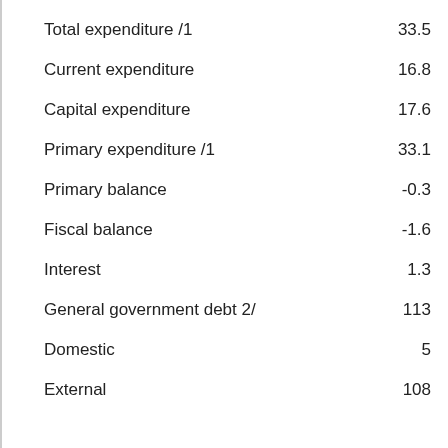|  |  |
| --- | --- |
| Total expenditure /1 | 33.5 |
| Current expenditure | 16.8 |
| Capital expenditure | 17.6 |
| Primary expenditure /1 | 33.1 |
| Primary balance | -0.3 |
| Fiscal balance | -1.6 |
| Interest | 1.3 |
| General government debt 2/ | 113 |
| Domestic | 5 |
| External | 108 |